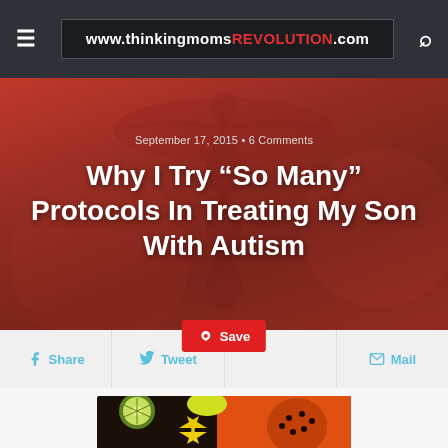www.thinkingmomsREVOLUTION.com
September 17, 2015 • 6 Comments
Why I Try “So Many” Protocols In Treating My Son With Autism
[Figure (screenshot): Social sharing bar with Share, Tweet, Save (Pinterest), and Mail buttons]
[Figure (photo): Close-up photo of tropical fruits including papaya, star fruit (carambola), kiwi slices on a dark background]